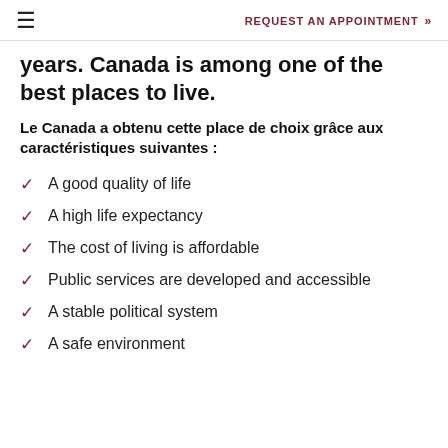≡  REQUEST AN APPOINTMENT »
years. Canada is among one of the best places to live.
Le Canada a obtenu cette place de choix grâce aux caractéristiques suivantes :
A good quality of life
A high life expectancy
The cost of living is affordable
Public services are developed and accessible
A stable political system
A safe environment